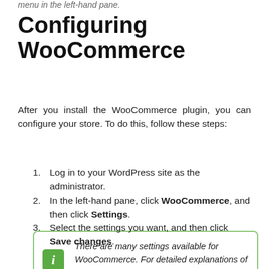menu in the left-hand pane.
Configuring WooCommerce
After you install the WooCommerce plugin, you can configure your store. To do this, follow these steps:
Log in to your WordPress site as the administrator.
In the left-hand pane, click WooCommerce, and then click Settings.
Select the settings you want, and then click Save changes.
There are many settings available for WooCommerce. For detailed explanations of these settings, please visit